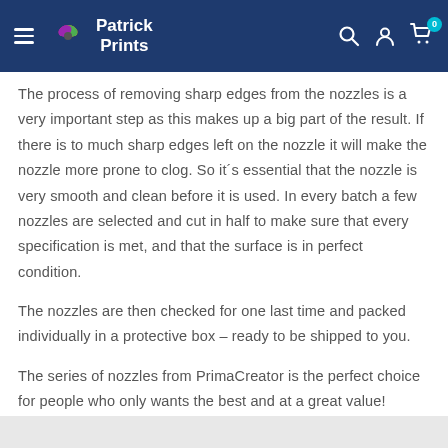Patrick Prints
The process of removing sharp edges from the nozzles is a very important step as this makes up a big part of the result. If there is to much sharp edges left on the nozzle it will make the nozzle more prone to clog. So it´s essential that the nozzle is very smooth and clean before it is used. In every batch a few nozzles are selected and cut in half to make sure that every specification is met, and that the surface is in perfect condition.
The nozzles are then checked for one last time and packed individually in a protective box – ready to be shipped to you.
The series of nozzles from PrimaCreator is the perfect choice for people who only wants the best and at a great value!